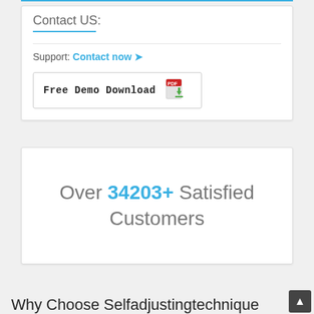Contact US:
Support: Contact now 🔗
[Figure (other): Free Demo Download button with PDF icon]
Over 34203+ Satisfied Customers
Why Choose Selfadjustingtechnique